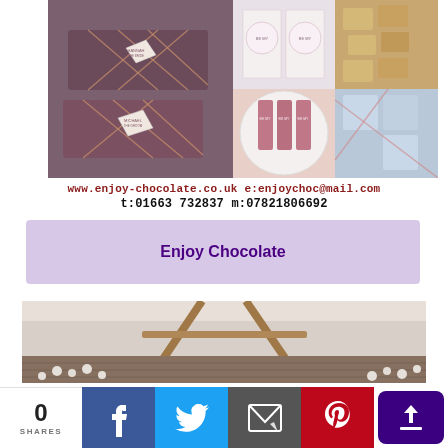[Figure (photo): Collage of chocolate gift products: left shows two purple art deco patterned chocolate bars on a plate with name tags 'Hannah' and 'Michael', top-center shows white wedding-themed chocolate wrappers, top-right shows gold wrapped mini chocolates, bottom-center shows pink mini bar chocolates on a round plate, bottom-right shows blue floral wrapped chocolates tied with ribbon]
www.enjoy-chocolate.co.uk e:enjoychoc@mail.com
t:01663 732837 m:07821806692
Enjoy Chocolate
[Figure (photo): Interior of a venue with wooden beam arch structure, brick wall detail, and white flower decorations in the foreground]
0
SHARES